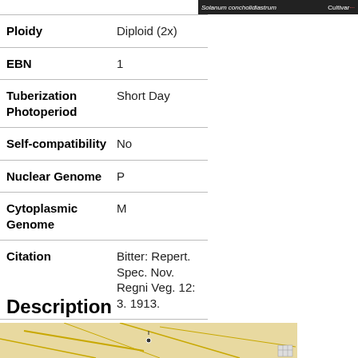[Figure (screenshot): Dark header bar showing 'Solanum concholidiastrum' in white italic text and 'Cultivar' label with red value on right side]
| Property | Value |
| --- | --- |
| Ploidy | Diploid (2x) |
| EBN | 1 |
| Tuberization Photoperiod | Short Day |
| Self-compatibility | No |
| Nuclear Genome | P |
| Cytoplasmic Genome | M |
| Citation | Bitter: Repert. Spec. Nov. Regni Veg. 12: 3. 1913. |
Description
[Figure (map): Partial map image at bottom of page]